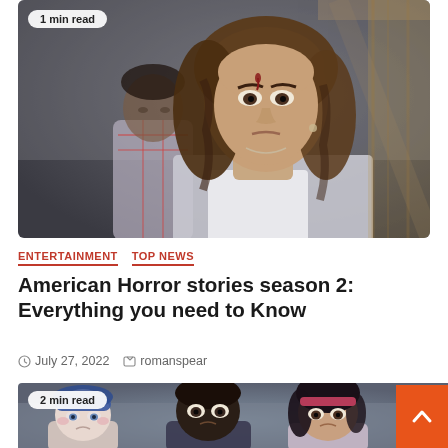[Figure (photo): A young woman with long wavy hair and blood on her face and neck looking distressed, with a boy in a plaid shirt blurred in the background. Horror show promotional still.]
1 min read
ENTERTAINMENT   TOP NEWS
American Horror stories season 2: Everything you need to Know
July 27, 2022   romanspear
[Figure (photo): Animated movie characters: three cartoon children with sad/worried expressions, including a pale child with blue hair, a dark-skinned boy, and a dark-haired girl with a red headband.]
2 min read